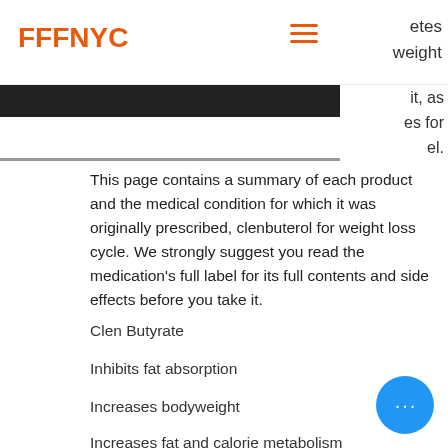FFFNYC
etes
weight
it, as
es for
el.
This page contains a summary of each product and the medical condition for which it was originally prescribed, clenbuterol for weight loss cycle. We strongly suggest you read the medication's full label for its full contents and side effects before you take it.
Clen Butyrate
Inhibits fat absorption
Increases bodyweight
Increases fat and calorie metabolism